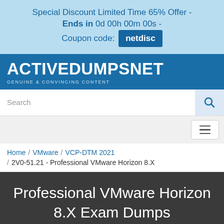Special Discount Limited Time 65% Offer - Ends in 0d 00h 00m 00s - Coupon code: netdisc
[Figure (logo): ACTIVEDUMPSNET logo with tagline GENUINE & CONVINCING CONTENT on blue background]
Search
Home / VMware / VCP-DTM 2021 / 2V0-51.21 - Professional VMware Horizon 8.X
Professional VMware Horizon 8.X Exam Dumps